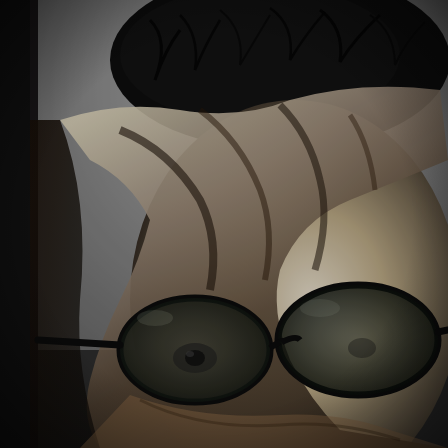[Figure (photo): Black and white close-up photograph of a person's face with dark-rimmed glasses, head tilted/bowed down so the face is partially obscured by fabric or clothing pulled over it. Dark messy hair visible at top. Dramatic high-contrast lighting against a grey background. Left edge has a dark vertical strip suggesting a book spine or frame edge.]